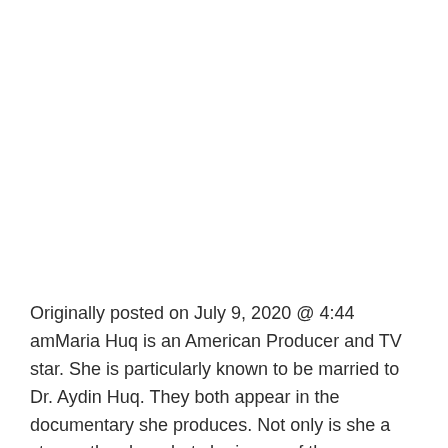Originally posted on July 9, 2020 @ 4:44 amMaria Huq is an American Producer and TV star. She is particularly known to be married to Dr. Aydin Huq. They both appear in the documentary she produces. Not only is she a star on the show, but she is one of the producers too. Apart from … Read more